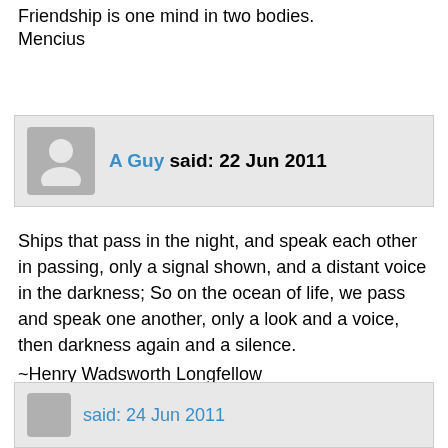Friendship is one mind in two bodies.
Mencius
A Guy said: 22 Jun 2011
Ships that pass in the night, and speak each other in passing, only a signal shown, and a distant voice in the darkness; So on the ocean of life, we pass and speak one another, only a look and a voice, then darkness again and a silence.
~Henry Wadsworth Longfellow

A Guy
said: 24 Jun 2011